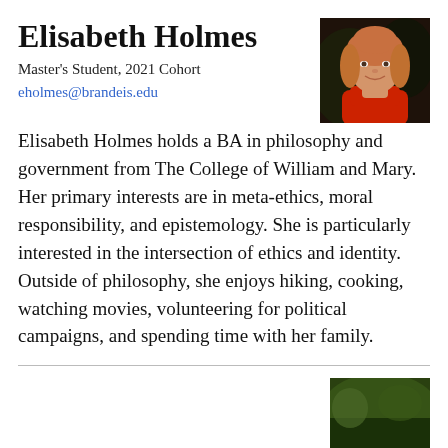Elisabeth Holmes
Master's Student, 2021 Cohort
eholmes@brandeis.edu
[Figure (photo): Headshot photo of Elisabeth Holmes, a woman with reddish-blonde hair, smiling, wearing a red top, with a dark background]
Elisabeth Holmes holds a BA in philosophy and government from The College of William and Mary. Her primary interests are in meta-ethics, moral responsibility, and epistemology. She is particularly interested in the intersection of ethics and identity. Outside of philosophy, she enjoys hiking, cooking, watching movies, volunteering for political campaigns, and spending time with her family.
[Figure (photo): Partial photo visible at bottom right corner of the page, appears to show an outdoor scene]